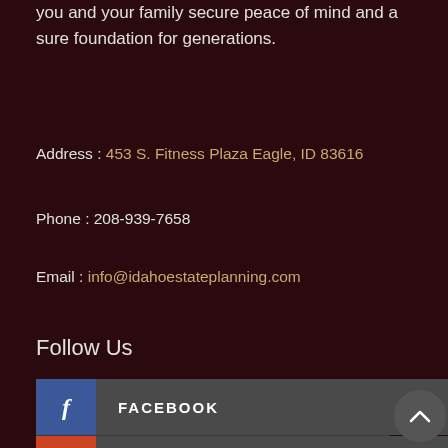you and your family secure peace of mind and a sure foundation for generations.
Address : 453 S. Fitness Plaza Eagle, ID 83616
Phone : 208-939-7658
Email : info@idahoestateplanning.com
Follow Us
FACEBOOK
LINKEDIN